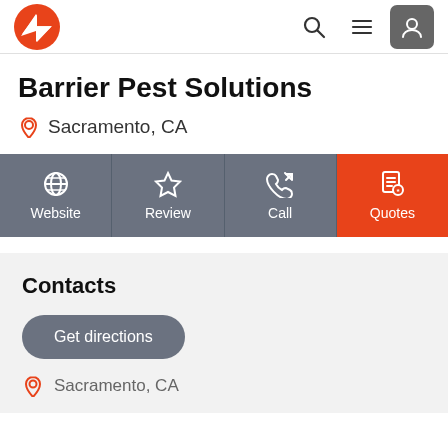[Figure (logo): Red and white stylized arrow/shield logo in top-left navbar]
Barrier Pest Solutions
Sacramento, CA
[Figure (infographic): Four action buttons: Website (globe icon), Review (star icon), Call (phone icon), Quotes (document icon, orange background)]
Contacts
Get directions
Sacramento, CA